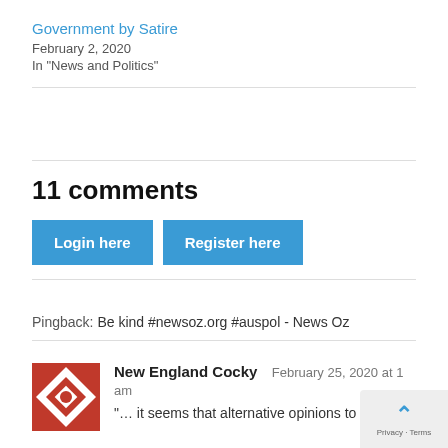Government by Satire
February 2, 2020
In "News and Politics"
11 comments
Login here | Register here
Pingback: Be kind #newsoz.org #auspol - News Oz
New England Cocky  February 25, 2020 at 1... am
"… it seems that alternative opinions to the